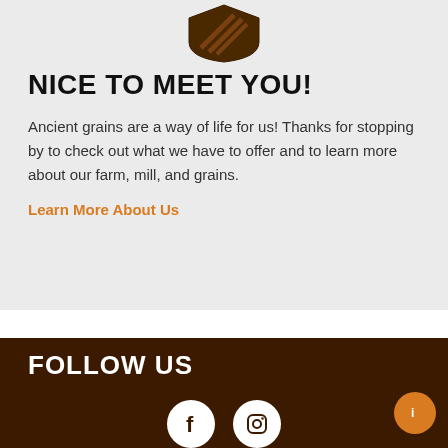[Figure (logo): Dark brown shield/wheat logo icon at the top of the gray section]
NICE TO MEET YOU!
Ancient grains are a way of life for us! Thanks for stopping by to check out what we have to offer and to learn more about our farm, mill, and grains.
Learn More About Us
FOLLOW US
[Figure (illustration): Facebook and Instagram social media icon circles in white on dark brown footer background]
[Figure (other): Small orange circular button with arrow icon on the right side]